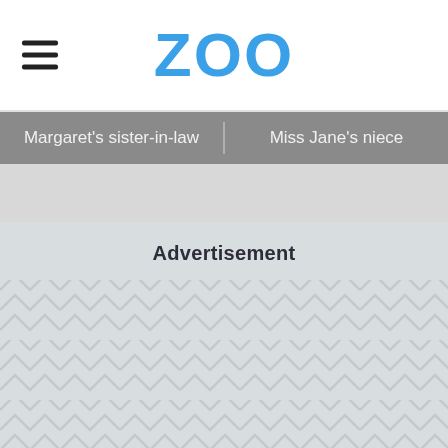ZOO
Margaret's sister-in-law
Miss Jane's niece
Advertisement